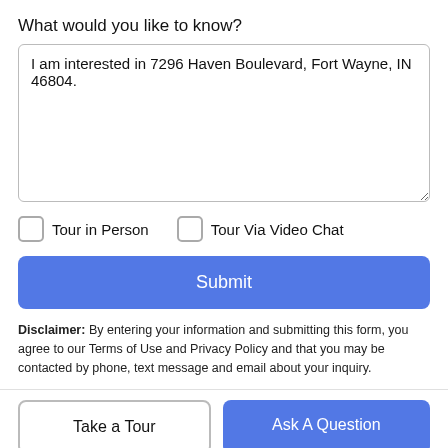What would you like to know?
I am interested in 7296 Haven Boulevard, Fort Wayne, IN 46804.
Tour in Person
Tour Via Video Chat
Submit
Disclaimer: By entering your information and submitting this form, you agree to our Terms of Use and Privacy Policy and that you may be contacted by phone, text message and email about your inquiry.
Take a Tour
Ask A Question